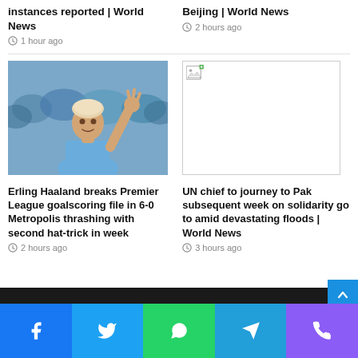instances reported | World News
1 hour ago
Beijing | World News
2 hours ago
[Figure (photo): Erling Haaland raising hand with three fingers, wearing blue Manchester City kit, crowd in background]
[Figure (other): Broken image placeholder with small thumbnail icon]
Erling Haaland breaks Premier League goalscoring file in 6-0 Metropolis thrashing with second hat-trick in week
2 hours ago
UN chief to journey to Pak subsequent week on solidarity go to amid devastating floods | World News
3 hours ago